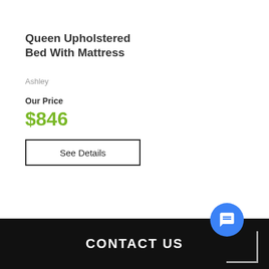Queen Upholstered Bed With Mattress
Ashley
Our Price
$846
See Details
CONTACT US